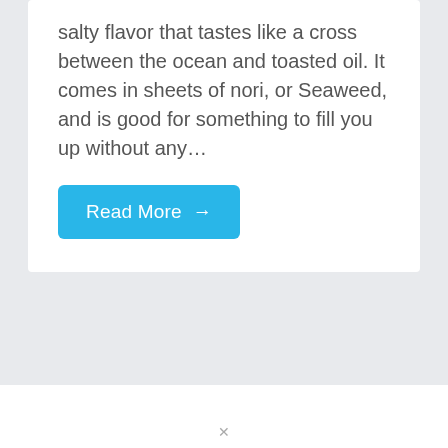salty flavor that tastes like a cross between the ocean and toasted oil. It comes in sheets of nori, or Seaweed, and is good for something to fill you up without any…
Read More →